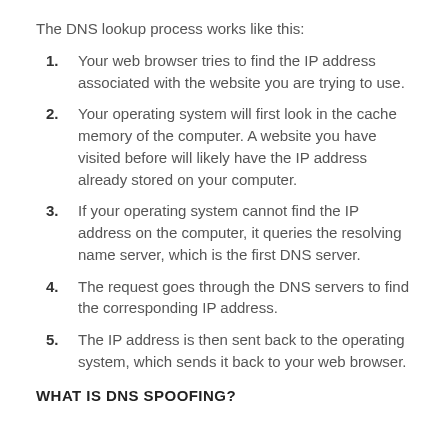The DNS lookup process works like this:
Your web browser tries to find the IP address associated with the website you are trying to use.
Your operating system will first look in the cache memory of the computer. A website you have visited before will likely have the IP address already stored on your computer.
If your operating system cannot find the IP address on the computer, it queries the resolving name server, which is the first DNS server.
The request goes through the DNS servers to find the corresponding IP address.
The IP address is then sent back to the operating system, which sends it back to your web browser.
WHAT IS DNS SPOOFING?